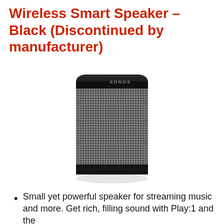Wireless Smart Speaker – Black (Discontinued by manufacturer)
[Figure (photo): Sonos Play:1 wireless smart speaker in black, cylindrical shape with mesh grille and SONOS branding on top strip, shown on white background with shadow]
Small yet powerful speaker for streaming music and more. Get rich, filling sound with Play:1 and the